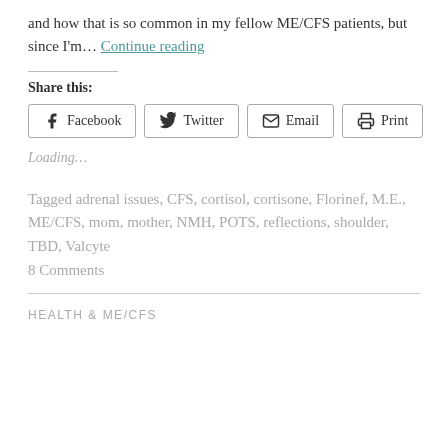and how that is so common in my fellow ME/CFS patients, but since I'm… Continue reading
Share this:
Facebook | Twitter | Email | Print (share buttons)
Loading…
Tagged adrenal issues, CFS, cortisol, cortisone, Florinef, M.E., ME/CFS, mom, mother, NMH, POTS, reflections, shoulder, TBD, Valcyte
8 Comments
HEALTH & ME/CFS